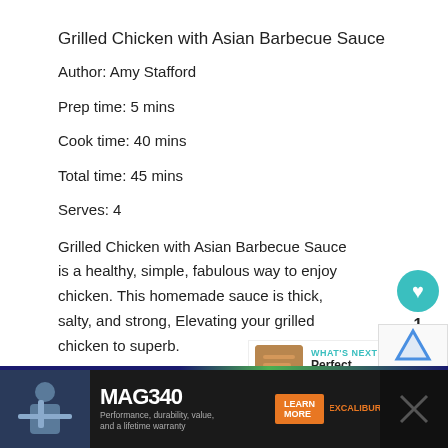Grilled Chicken with Asian Barbecue Sauce
Author: Amy Stafford
Prep time: 5 mins
Cook time: 40 mins
Total time: 45 mins
Serves: 4
Grilled Chicken with Asian Barbecue Sauce is a healthy, simple, fabulous way to enjoy chicken. This homemade sauce is thick, salty, and strong, Elevating your grilled chicken to superb.
Ingredients
[Figure (other): Heart/like button (teal circle with heart icon), share count 1, and share button]
[Figure (other): What's Next panel showing Perfect Barbecue... thumbnail and label]
[Figure (other): Advertisement banner for MAG340 crossbow with Learn More button and Excalibur logo]